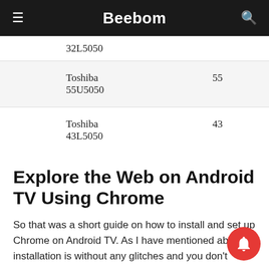Beebom
| Model | Size |
| --- | --- |
| Toshiba 32L5050 |  |
| Toshiba 55U5050 | 55 |
| Toshiba 43L5050 | 43 |
Explore the Web on Android TV Using Chrome
So that was a short guide on how to install and set up Chrome on Android TV. As I have mentioned ab the installation is without any glitches and you don't